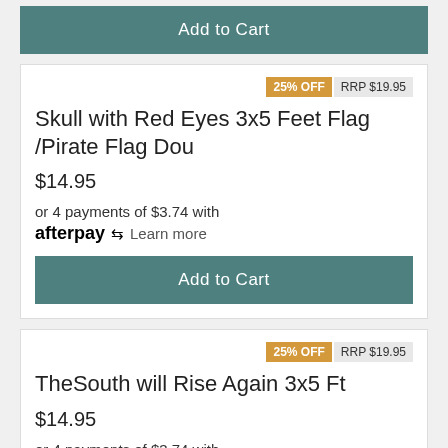Add to Cart
25% OFF   RRP $19.95
Skull with Red Eyes 3x5 Feet Flag /Pirate Flag Dou
$14.95
or 4 payments of $3.74 with afterpay Learn more
Add to Cart
25% OFF   RRP $19.95
TheSouth will Rise Again 3x5 Ft
$14.95
or 4 payments of $3.74 with